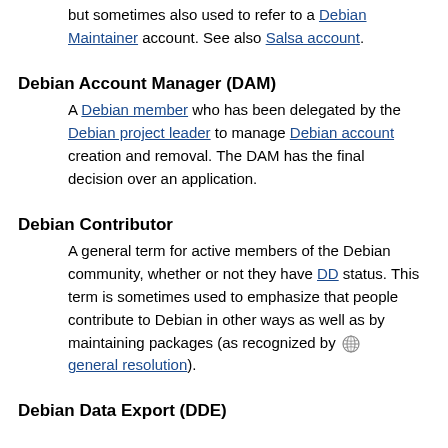but sometimes also used to refer to a Debian Maintainer account. See also Salsa account.
Debian Account Manager (DAM)
A Debian member who has been delegated by the Debian project leader to manage Debian account creation and removal. The DAM has the final decision over an application.
Debian Contributor
A general term for active members of the Debian community, whether or not they have DD status. This term is sometimes used to emphasize that people contribute to Debian in other ways as well as by maintaining packages (as recognized by [globe icon] general resolution).
Debian Data Export (DDE)